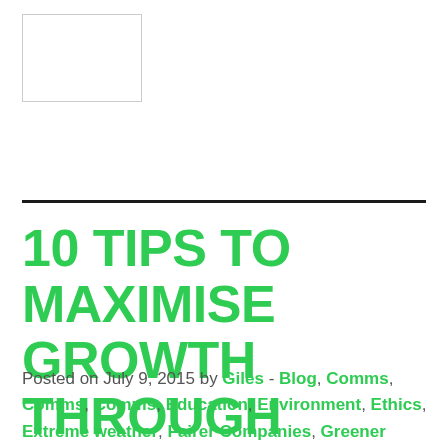[Figure (logo): White rectangle logo placeholder with border]
10 TIPS TO MAXIMISE GROWTH THROUGH YOUR WEBSITE
Posted on July 9, 2015 by Giles - Blog, Comms, Comms, Comms, Education, Environment, Ethics, Extreme weather, Fairer Companies, Greener Environmental, Greener Marine, Income growth, Marketing, Olympics, Partnerships, Policy, Policy, Protection, Recycling, Smarter Charities, Smarter